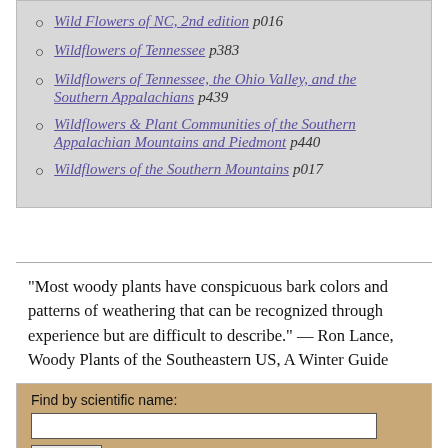Wild Flowers of NC, 2nd edition p016
Wildflowers of Tennessee p383
Wildflowers of Tennessee, the Ohio Valley, and the Southern Appalachians p439
Wildflowers & Plant Communities of the Southern Appalachian Mountains and Piedmont p440
Wildflowers of the Southern Mountains p017
"Most woody plants have conspicuous bark colors and patterns of weathering that can be recognized through experience but are difficult to describe." — Ron Lance, Woody Plants of the Southeastern US, A Winter Guide
Find by scientific name: [search input] Search!